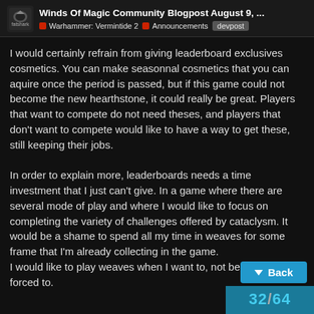Winds Of Magic Community Blogpost August 9, ... | Warhammer: Vermintide 2 | Announcements | devpost
I would certainly refrain from giving leaderboard exclusives cosmetics. You can make seasonnal cosmetics that you can aquire once the period is passed, but if this game could not become the new hearthstone, it could really be great. Players that want to compete do not need theses, and players that don't want to compete would like to have a way to get these, still keeping their jobs.
In order to explain more, leaderboards needs a time investment that I just can't give. In a game where there are several mode of play and where I would like to focus on completing the variety of challenges offered by cataclysm. It would be a shame to spend all my time in weaves for some frame that I'm already collecting in the game.
I would like to play weaves when I want to, not because I'm forced to.
32 / 64